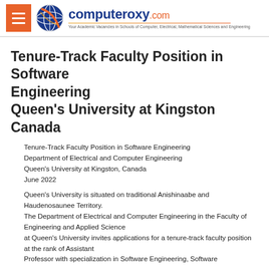computeroxy.com — Your Academic Vacancies in Schools of Computer, Electrical, Mathematical Sciences and Engineering
Tenure-Track Faculty Position in Software Engineering
Queen's University at Kingston
Canada
Tenure-Track Faculty Position in Software Engineering
Department of Electrical and Computer Engineering
Queen's University at Kingston, Canada
June 2022
Queen's University is situated on traditional Anishinaabe and Haudenosaunee Territory.
The Department of Electrical and Computer Engineering in the Faculty of Engineering and Applied Science
at Queen's University invites applications for a tenure-track faculty position at the rank of Assistant
Professor with specialization in Software Engineering, Software…